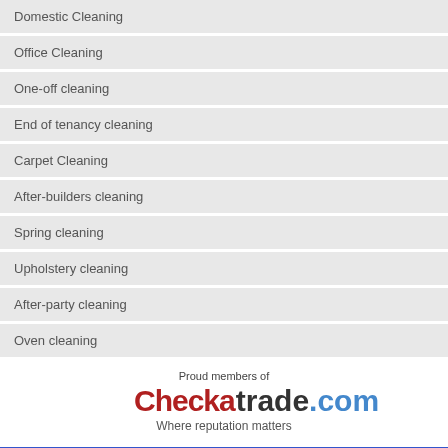Domestic Cleaning
Office Cleaning
One-off cleaning
End of tenancy cleaning
Carpet Cleaning
After-builders cleaning
Spring cleaning
Upholstery cleaning
After-party cleaning
Oven cleaning
[Figure (logo): Checkatrade.com logo with tagline 'Where reputation matters', preceded by text 'Proud members of']
AREAS WE COVER